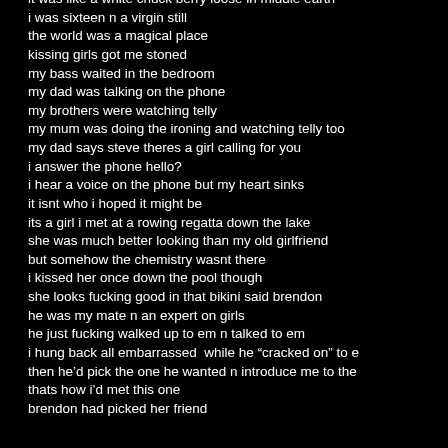it was like a white chuck berry loose in middle earth
i was sixteen n a virgin still
the world was a magical place
kissing girls got me stoned
my bass waited in the bedroom
my dad was talking on the phone
my brothers were watching telly
my mum was doing the ironing and watching telly too
my dad says steve theres a girl calling for you
i answer the phone hello?
i hear a voice on the phone but my heart sinks
it isnt who i hoped it might be
its a girl i met at a rowing regatta down the lake
she was much better looking than my old girlfriend
but somehow the chemistry wasnt there
i kissed her once down the pool though
she looks fucking good in that bikini said brendon
he was my mate n an expert on girls
he just fucking walked up to em n talked to em
i hung back all embarrassed  while he "cracked on" to e
then he'd pick the one he wanted n introduce me to the
thats how i'd met this one
brendon had picked her friend